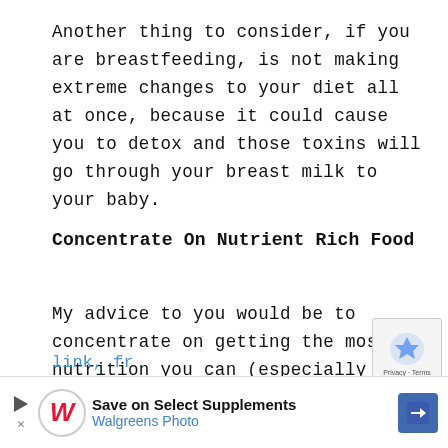Another thing to consider, if you are breastfeeding, is not making extreme changes to your diet all at once, because it could cause you to detox and those toxins will go through your breast milk to your baby.
Concentrate On Nutrient Rich Food
My advice to you would be to concentrate on getting the most nutrition you can (especially concentrating on food that contains nutrients that may have been used up while pregnant), without wasting calories on nutritionally inferior food. You can check out the Weston Price Foundation and read scores of articles on some of the most healthy food to eat. Here i link, fr impo
[Figure (other): Walgreens Photo advertisement banner: 'Save on Select Supplements' with Walgreens W logo, play button, blue navigation arrow icon, and reCAPTCHA logo partially visible]